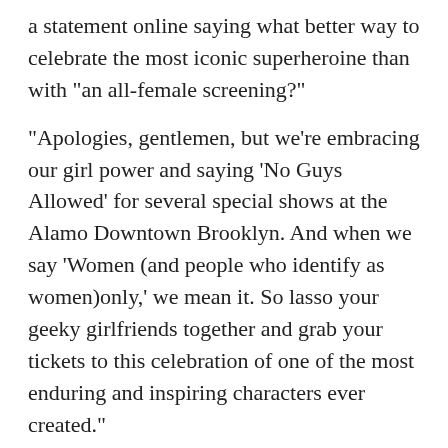a statement online saying what better way to celebrate the most iconic superheroine than with "an all-female screening?"
"Apologies, gentlemen, but we're embracing our girl power and saying 'No Guys Allowed' for several special shows at the Alamo Downtown Brooklyn. And when we say 'Women (and people who identify as women)only,' we mean it. So lasso your geeky girlfriends together and grab your tickets to this celebration of one of the most enduring and inspiring characters ever created."
The movie opens June 2 based on the DC Comics character. It was directed by Patty Jenkins and stars Gal Gadot as Wonder Woman/Diana Prince.
Copyright 2017. The Associated Press. All rights reserved. This material may not be published, broadcast, rewritten or